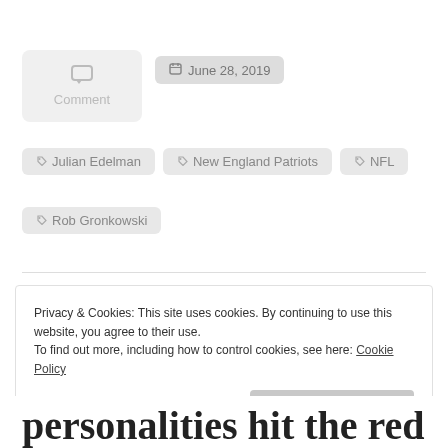[Figure (other): Comment box with speech bubble icon and 'Comment' label, light gray background]
June 28, 2019
Julian Edelman
New England Patriots
NFL
Rob Gronkowski
Privacy & Cookies: This site uses cookies. By continuing to use this website, you agree to their use.
To find out more, including how to control cookies, see here: Cookie Policy
Close and accept
personalities hit the red